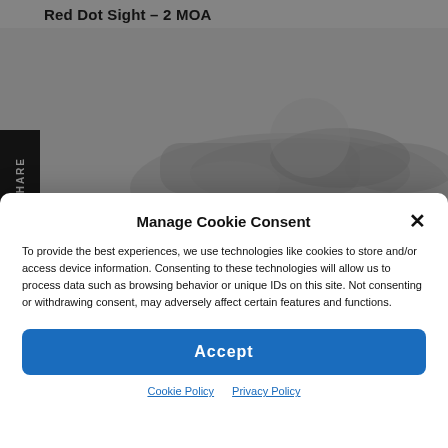Red Dot Sight – 2 MOA
[Figure (photo): Product photo of a red dot sight, shown in grayscale on a light gray background]
Manage Cookie Consent
To provide the best experiences, we use technologies like cookies to store and/or access device information. Consenting to these technologies will allow us to process data such as browsing behavior or unique IDs on this site. Not consenting or withdrawing consent, may adversely affect certain features and functions.
Accept
Cookie Policy  Privacy Policy